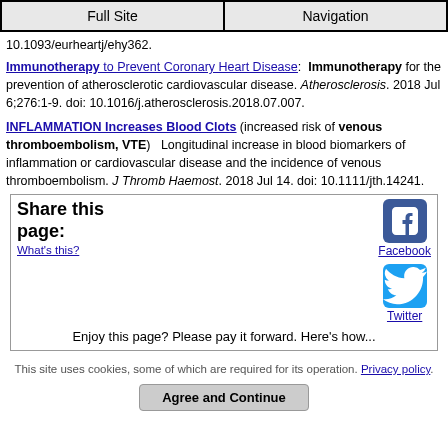Full Site | Navigation
10.1093/eurheartj/ehy362.
Immunotherapy to Prevent Coronary Heart Disease: Immunotherapy for the prevention of atherosclerotic cardiovascular disease. Atherosclerosis. 2018 Jul 6;276:1-9. doi: 10.1016/j.atherosclerosis.2018.07.007.
INFLAMMATION Increases Blood Clots (increased risk of venous thromboembolism, VTE) Longitudinal increase in blood biomarkers of inflammation or cardiovascular disease and the incidence of venous thromboembolism. J Thromb Haemost. 2018 Jul 14. doi: 10.1111/jth.14241.
Share this page: What's this? Facebook Twitter Enjoy this page? Please pay it forward. Here's how...
This site uses cookies, some of which are required for its operation. Privacy policy.
Agree and Continue